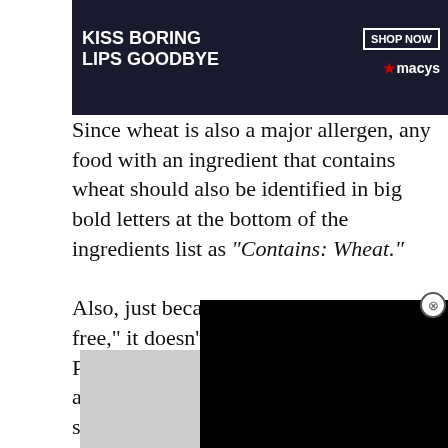[Figure (photo): Advertisement banner: 'KISS BORING LIPS GOODBYE' with 'SHOP NOW' button and Macy's logo, showing a woman with red lipstick]
Since wheat is also a major allergen, any food with an ingredient that contains wheat should also be identified in big bold letters at the bottom of the ingredients list as “Contains: Wheat.”
Also, just because something is “wheat-free,” it doesn’t mean it’s gluten-free. Plus, barley and rye aren’t major allergens, so you’ll need to do more sleuthing to determine if a product actually has gluten in it.
[Figure (photo): Advertisement banner showing '22 Words' logo badge and a hand holding a black device]